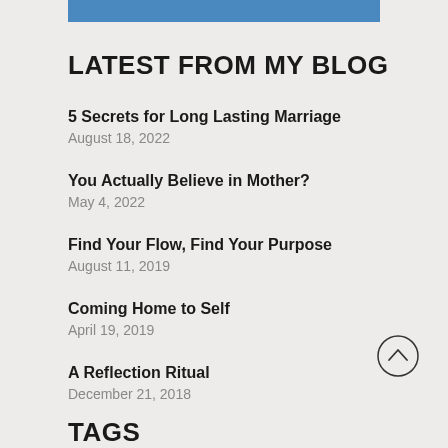[Figure (other): Blue decorative horizontal bar at the top of the page]
LATEST FROM MY BLOG
5 Secrets for Long Lasting Marriage
August 18, 2022
You Actually Believe in Mother?
May 4, 2022
Find Your Flow, Find Your Purpose
August 11, 2019
Coming Home to Self
April 19, 2019
A Reflection Ritual
December 21, 2018
TAGS